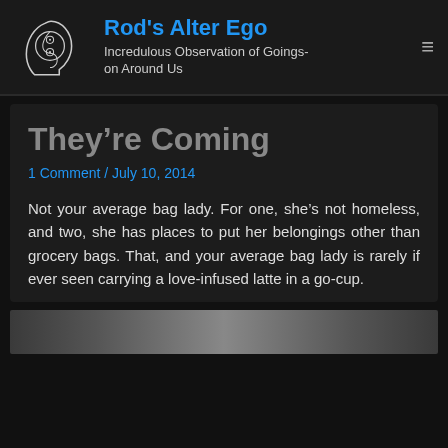Rod's Alter Ego — Incredulous Observation of Goings-on Around Us
They're Coming
1 Comment / July 10, 2014
Not your average bag lady. For one, she's not homeless, and two, she has places to put her belongings other than grocery bags. That, and your average bag lady is rarely if ever seen carrying a love-infused latte in a go-cup.
[Figure (photo): Partial photo visible at bottom of page, appears to be a street or urban scene]